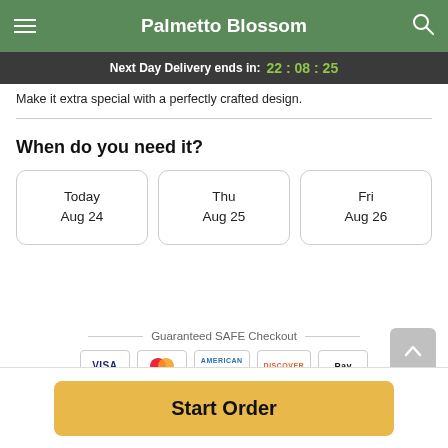Palmetto Blossom
Next Day Delivery ends in: 22 : 08 : 25
Make it extra special with a perfectly crafted design.
When do you need it?
Today
Aug 24
Thu
Aug 25
Fri
Aug 26
Guaranteed SAFE Checkout
[Figure (infographic): Payment icons: VISA, Mastercard, American Express, Discover, Apple Pay]
Start Order